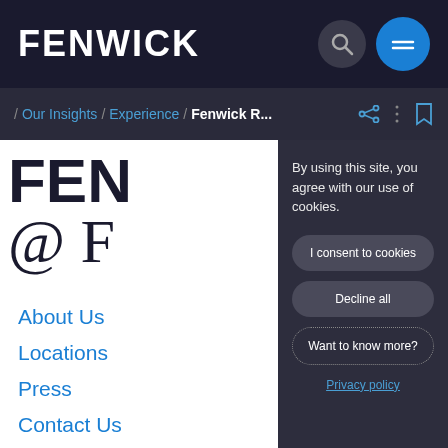FENWICK
/ Our Insights / Experience / Fenwick R...
[Figure (screenshot): Partial Fenwick website background with large FEN and @ F text visible]
About Us
Locations
Press
Contact Us
Alumni
By using this site, you agree with our use of cookies.
I consent to cookies
Decline all
Want to know more?
Privacy policy